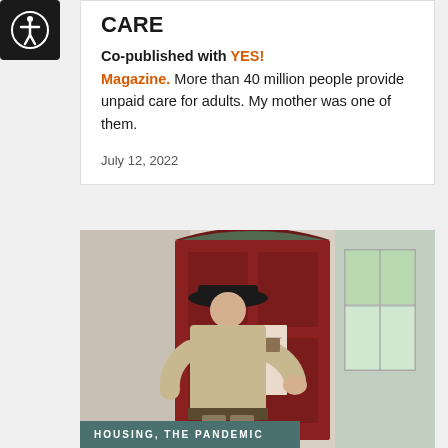[Figure (logo): Accessibility icon — white figure with circle on black rounded square background]
CARE
Co-published with YES! Magazine. More than 40 million people provide unpaid care for adults. My mother was one of them.
July 12, 2022
[Figure (photo): A person wearing a black hat and khaki uniform (appears to be a law enforcement officer) posting or knocking on a red front door with decorative stained glass transom window. A white-framed window is visible on the right side.]
HOUSING, THE PANDEMIC